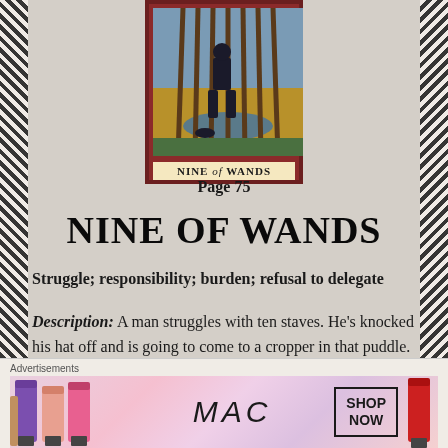[Figure (illustration): Tarot card image: Nine of Wands. A man struggles with ten staves in a puddle scene. Card has dark red border with label 'NINE of WANDS' at bottom.]
Page 75
NINE OF WANDS
Struggle; responsibility; burden; refusal to delegate
Description: A man struggles with ten staves. He's knocked his hat off and is going to come to a cropper in that puddle.
Advertisements